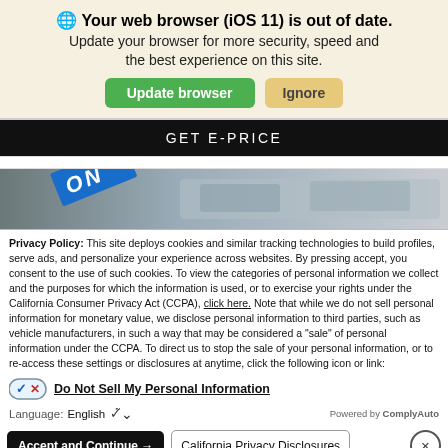🌐 Your web browser (iOS 11) is out of date.
Update your browser for more security, speed and the best experience on this site.
Update browser | Ignore
GET E-PRICE
[Figure (photo): Partial view of vehicles with blue stripe/banner showing partial text 'ON']
Privacy Policy: This site deploys cookies and similar tracking technologies to build profiles, serve ads, and personalize your experience across websites. By pressing accept, you consent to the use of such cookies. To view the categories of personal information we collect and the purposes for which the information is used, or to exercise your rights under the California Consumer Privacy Act (CCPA), click here. Note that while we do not sell personal information for monetary value, we disclose personal information to third parties, such as vehicle manufacturers, in such a way that may be considered a "sale" of personal information under the CCPA. To direct us to stop the sale of your personal information, or to re-access these settings or disclosures at anytime, click the following icon or link:
Do Not Sell My Personal Information
Language: English ∨   Powered by ComplyAuto
Accept and Continue →   California Privacy Disclosures   ×